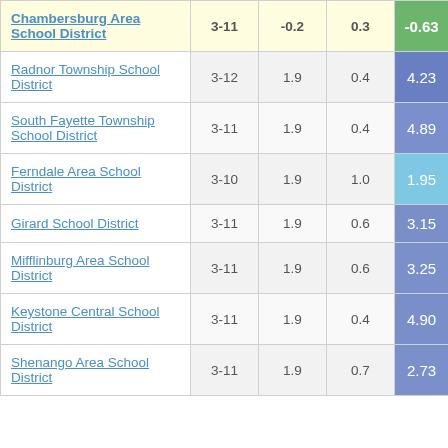| District | Grades | Col3 | Col4 | Score |
| --- | --- | --- | --- | --- |
| Chambersburg Area School District | 3-11 | -0.2 | 0.3 | -0.63 |
| Radnor Township School District | 3-12 | 1.9 | 0.4 | 4.23 |
| South Fayette Township School District | 3-11 | 1.9 | 0.4 | 4.89 |
| Ferndale Area School District | 3-10 | 1.9 | 1.0 | 1.95 |
| Girard School District | 3-11 | 1.9 | 0.6 | 3.15 |
| Mifflinburg Area School District | 3-11 | 1.9 | 0.6 | 3.25 |
| Keystone Central School District | 3-11 | 1.9 | 0.4 | 4.90 |
| Shenango Area School District | 3-11 | 1.9 | 0.7 | 2.73 |